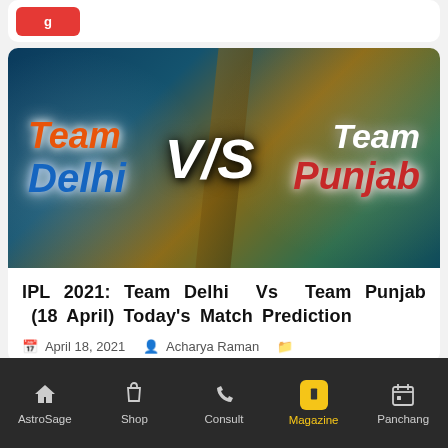[Figure (illustration): Sports match graphic showing 'Team Delhi V/S Team Punjab' with colorful background]
IPL 2021: Team Delhi Vs Team Punjab (18 April) Today's Match Prediction
April 18, 2021   Acharya Raman
AstroSage  Shop  Consult  Magazine  Panchang